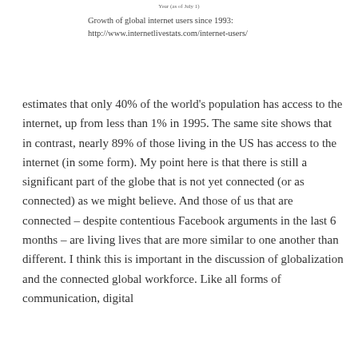Year (as of July 1)
Growth of global internet users since 1993:
http://www.internetlivestats.com/internet-users/
estimates that only 40% of the world's population has access to the internet, up from less than 1% in 1995. The same site shows that in contrast, nearly 89% of those living in the US has access to the internet (in some form). My point here is that there is still a significant part of the globe that is not yet connected (or as connected) as we might believe. And those of us that are connected – despite contentious Facebook arguments in the last 6 months – are living lives that are more similar to one another than different. I think this is important in the discussion of globalization and the connected global workforce. Like all forms of communication, digital